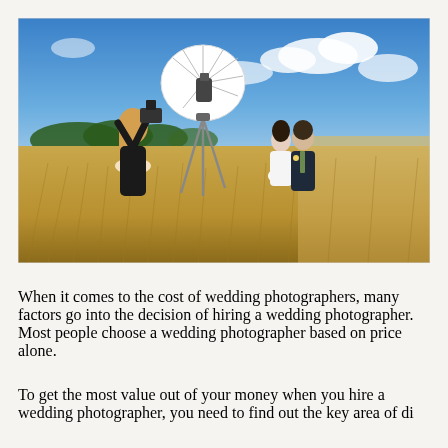[Figure (photo): A wedding photographer, a woman in black, holds a camera with a large white umbrella light on a tripod in a golden wheat field, photographing a bride and groom couple standing in the field under a blue sky with scattered white clouds.]
When it comes to the cost of wedding photographers, many factors go into the decision of hiring a wedding photographer. Most people choose a wedding photographer based on price alone.
To get the most value out of your money when you hire a wedding photographer, you need to find out the key area of di...